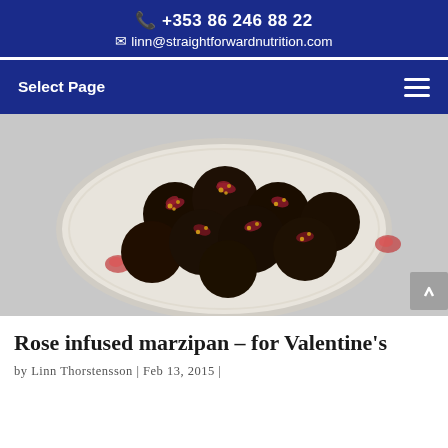📞 +353 86 246 88 22
✉ linn@straightforwardnutrition.com
Select Page
[Figure (photo): Chocolate-covered marzipan balls decorated with dried rose petals and gold sprinkles, arranged on a white floral-patterned plate against a light grey background.]
Rose infused marzipan – for Valentine's
by Linn Thorstensson | Feb 13, 2015 |